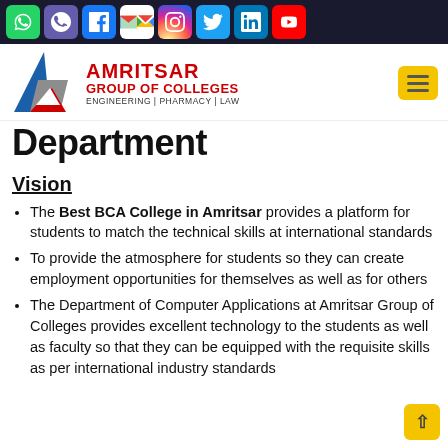[Figure (other): Social media icon bar with WhatsApp, Viber, Facebook, Gmail, Instagram, Twitter, LinkedIn, YouTube icons on dark background]
[Figure (logo): Amritsar Group of Colleges logo with blue/red/grey triangle and text: AMRITSAR GROUP OF COLLEGES, ENGINEERING | PHARMACY | LAW]
Department
Vision
The Best BCA College in Amritsar provides a platform for students to match the technical skills at international standards
To provide the atmosphere for students so they can create employment opportunities for themselves as well as for others
The Department of Computer Applications at Amritsar Group of Colleges provides excellent technology to the students as well as faculty so that they can be equipped with the requisite skills as per international industry standards